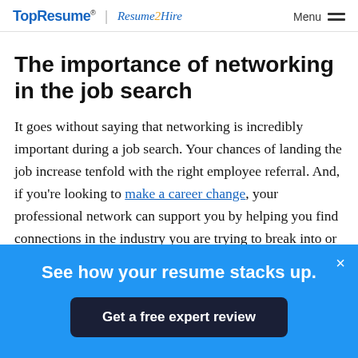TopResume® | Resume 2 Hire   Menu
The importance of networking in the job search
It goes without saying that networking is incredibly important during a job search. Your chances of landing the job increase tenfold with the right employee referral. And, if you're looking to make a career change, your professional network can support you by helping you find connections in the industry you are trying to break into or helping you
See how your resume stacks up.
Get a free expert review